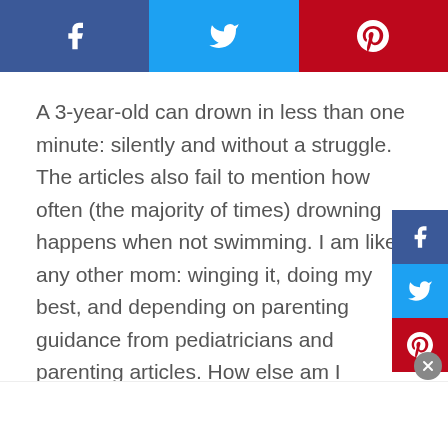[Figure (infographic): Social share bar with Facebook (dark blue), Twitter (light blue), and Pinterest (red) buttons with white icons]
A 3-year-old can drown in less than one minute: silently and without a struggle. The articles also fail to mention how often (the majority of times) drowning happens when not swimming. I am like any other mom: winging it, doing my best, and depending on parenting guidance from pediatricians and parenting articles. How else am I supposed to know what I am doing? Drowning needs to be addressed with as much concern as newborns sleeping on their backs to sleep, vaccinations, and car seat safety. Drowning is just as deadly and just as
[Figure (infographic): Sidebar social share buttons: Facebook (dark blue), Twitter (light blue), Pinterest (red) stacked vertically on the right side]
[Figure (other): Close button (grey circle with X) in the lower right]